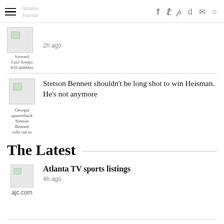≡ [site name partial] f 𝕥 p d ✉ ○
forward Luiz Araújo #10 dribbles
2h ago
Stetson Bennett shouldn't be long shot to win Heisman. He's not anymore
The Latest
ajc.com
Atlanta TV sports listings
4h ago
South Atlanta designs winning blueprint against West Columbia Gray Collegiate